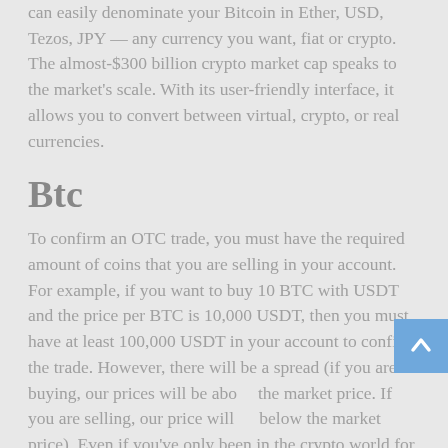can easily denominate your Bitcoin in Ether, USD, Tezos, JPY — any currency you want, fiat or crypto. The almost-$300 billion crypto market cap speaks to the market's scale. With its user-friendly interface, it allows you to convert between virtual, crypto, or real currencies.
Btc
To confirm an OTC trade, you must have the required amount of coins that you are selling in your account. For example, if you want to buy 10 BTC with USDT and the price per BTC is 10,000 USDT, then you must have at least 100,000 USDT in your account to confirm the trade. However, there will be a spread (if you are buying, our prices will be above the market price. If you are selling, our price will be below the market price). Even if you've only been in the crypto world for a brief time, you'd already be